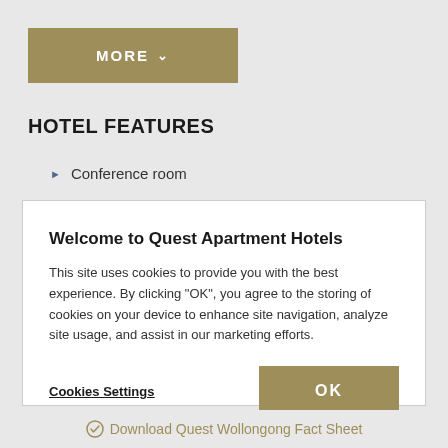[Figure (screenshot): Gold/tan 'MORE ∨' button]
HOTEL FEATURES
Conference room
Welcome to Quest Apartment Hotels
This site uses cookies to provide you with the best experience. By clicking "OK", you agree to the storing of cookies on your device to enhance site navigation, analyze site usage, and assist in our marketing efforts.
Cookies Settings
OK
Download Quest Wollongong Fact Sheet